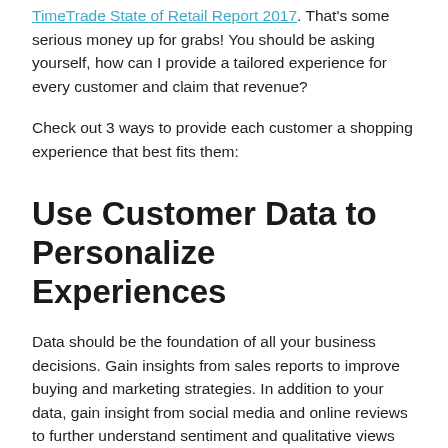TimeTrade State of Retail Report 2017. That's some serious money up for grabs! You should be asking yourself, how can I provide a tailored experience for every customer and claim that revenue?
Check out 3 ways to provide each customer a shopping experience that best fits them:
Use Customer Data to Personalize Experiences
Data should be the foundation of all your business decisions. Gain insights from sales reports to improve buying and marketing strategies. In addition to your data, gain insight from social media and online reviews to further understand sentiment and qualitative views on your business.
With that information, you can make informed business decisions. For example, if certain items are popular, you